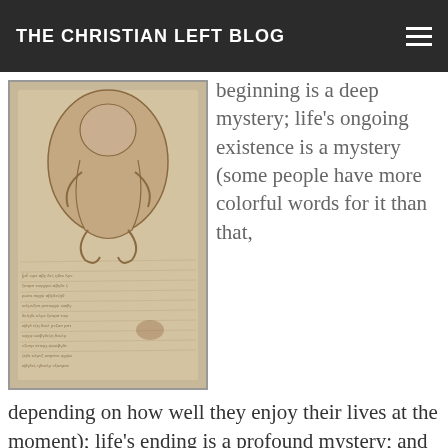THE CHRISTIAN LEFT BLOG
[Figure (illustration): Historical anatomical drawing of a fetus in the womb, surrounded by handwritten text in an antique manuscript style, resembling a Leonardo da Vinci drawing on aged parchment]
beginning is a deep mystery; life's ongoing existence is a mystery (some people have more colorful words for it than that, depending on how well they enjoy their lives at the moment); life's ending is a profound mystery; and what exists beyond this life — not even just "when it ends", but I mean what is transcendent to this life, outside it, right now, as well — is for many a mystery. Even if we didn't think of life as a mystery, it's still more than we can fathom, a mystery nonetheless.
Which is why, for me at least, the ongoing and sometimes violent conflict over abortion seems to carry